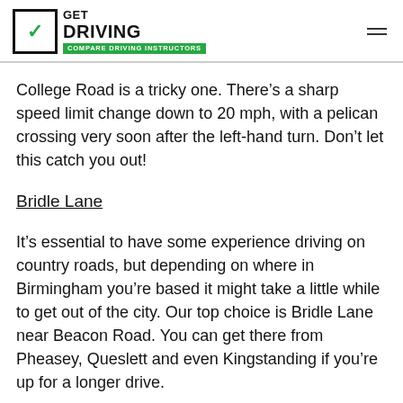GET DRIVING - COMPARE DRIVING INSTRUCTORS
College Road is a tricky one. There’s a sharp speed limit change down to 20 mph, with a pelican crossing very soon after the left-hand turn. Don’t let this catch you out!
Bridle Lane
It’s essential to have some experience driving on country roads, but depending on where in Birmingham you’re based it might take a little while to get out of the city. Our top choice is Bridle Lane near Beacon Road. You can get there from Pheasey, Queslett and even Kingstanding if you’re up for a longer drive.
City Centre
If you’ve done most of your practice in the suburbs, it